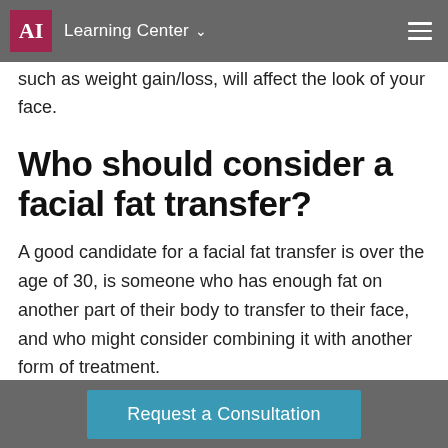AI Learning Center
such as weight gain/loss, will affect the look of your face.
Who should consider a facial fat transfer?
A good candidate for a facial fat transfer is over the age of 30, is someone who has enough fat on another part of their body to transfer to their face, and who might consider combining it with another form of treatment.
Request a Consultation